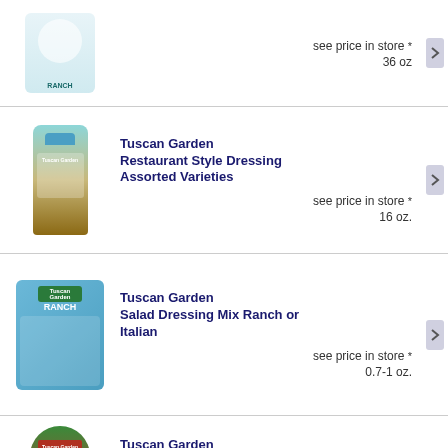[Figure (photo): Ranch dressing bottle, large size, partial view]
see price in store *
36 oz
[Figure (photo): Tuscan Garden Restaurant Style Dressing bottle]
Tuscan Garden Restaurant Style Dressing Assorted Varieties
see price in store *
16 oz.
[Figure (photo): Tuscan Garden Ranch Salad Dressing Mix packet]
Tuscan Garden Salad Dressing Mix Ranch or Italian
see price in store *
0.7-1 oz.
[Figure (photo): Tuscan Garden Spanish Manzanilla Olives jar]
Tuscan Garden Spanish Manzanilla Olives
see price in store *